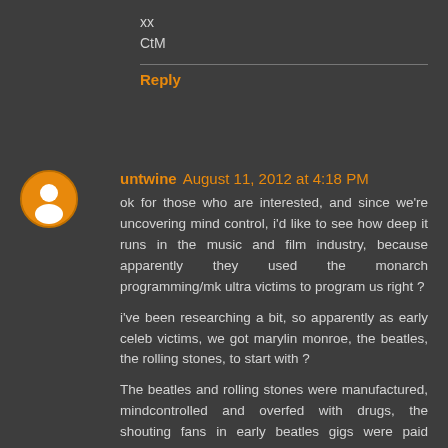xx
CtM
Reply
untwine August 11, 2012 at 4:18 PM
ok for those who are interested, and since we're uncovering mind control, i'd like to see how deep it runs in the music and film industry, because apparently they used the monarch programming/mk ultra victims to program us right ?
i've been researching a bit, so apparently as early celeb victims, we got marylin monroe, the beatles, the rolling stones, to start with ?
The beatles and rolling stones were manufactured, mindcontrolled and overfed with drugs, the shouting fans in early beatles gigs were paid actresses, the links with Aleister Crowley, Charles Manson are all over, sgt pepper's